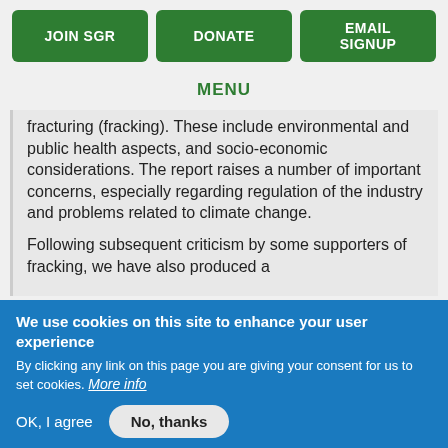JOIN SGR | DONATE | EMAIL SIGNUP
MENU
fracturing (fracking). These include environmental and public health aspects, and socio-economic considerations. The report raises a number of important concerns, especially regarding regulation of the industry and problems related to climate change.

Following subsequent criticism by some supporters of fracking, we have also produced a
We use cookies on this site to enhance your user experience
By clicking any link on this page you are giving your consent for us to set cookies. More info
OK, I agree   No, thanks